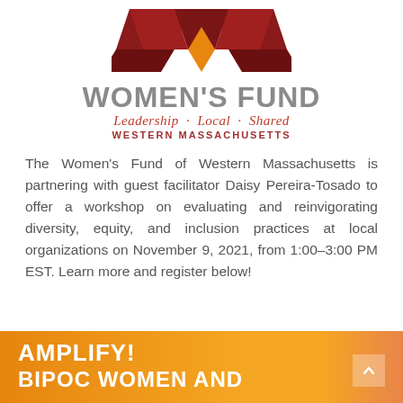[Figure (logo): Women's Fund Western Massachusetts logo with red and orange geometric chevron/arrow shapes above the text]
WOMEN'S FUND
Leadership · Local · Shared
WESTERN MASSACHUSETTS
The Women's Fund of Western Massachusetts is partnering with guest facilitator Daisy Pereira-Tosado to offer a workshop on evaluating and reinvigorating diversity, equity, and inclusion practices at local organizations on November 9, 2021, from 1:00–3:00 PM EST. Learn more and register below!
AMPLIFY!
BIPOC WOMEN AND